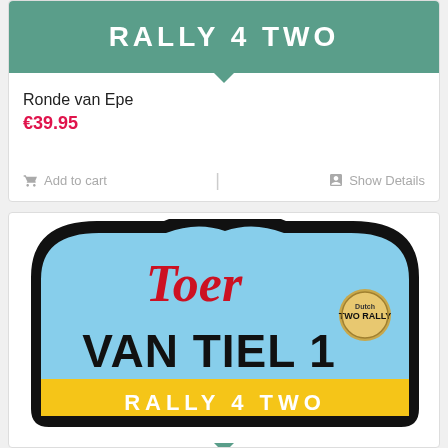[Figure (illustration): Rally 4 Two badge/number plate with green background and white text 'RALLY 4 TWO' at the top of a product card]
Ronde van Epe
€39.95
Add to cart
Show Details
[Figure (illustration): Rally 4 Two badge/number plate with light blue body, red italic 'Toer' text, black bold 'VAN TIEL 1' text, yellow bottom band with white 'RALLY 4 TWO' text, and Dutch Two Rally logo in top right corner]